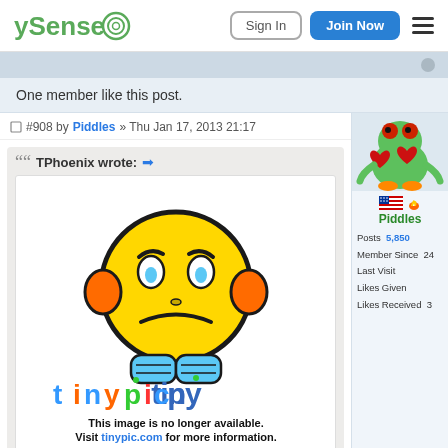ySense — Sign In | Join Now
One member like this post.
#908 by Piddles » Thu Jan 17, 2013 21:17
TPhoenix wrote: →
[Figure (illustration): Tinypic broken image placeholder: a sad yellow smiley face emoji with orange headphones and blue shoes, with the tinypic logo and text reading 'This image is no longer available. Visit tinypic.com for more information.']
[Figure (illustration): User avatar for Piddles: cartoon frog holding a red heart]
Piddles
Posts 5,850
Member Since 24
Last Visit
Likes Given
Likes Received 3